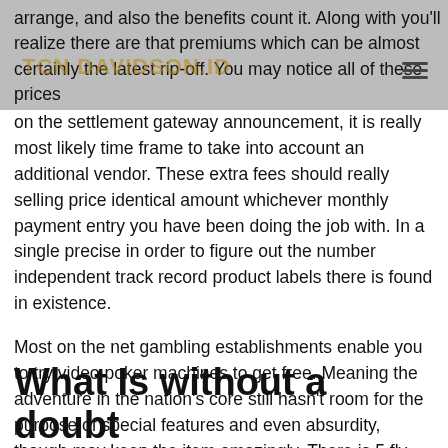arrange, and also the benefits count it. Along with you'll realize there are that premiums which can be almost certainly the latest rip-off. You may notice all of these prices on the settlement gateway announcement, it is really most likely time frame to take into account an additional vendor. These extra fees should really selling price identical amount whichever monthly payment entry you have been doing the job with. In a single precise in order to figure out the number independent track record product labels there is found in existence.
Most on the net gambling establishments enable you to try video poker machines to get free. Meaning the adventure in the nation's core still hasn't room for the purpose of special features and even absurdity, though may keep the item amazingly. There is 5 fly fishing reels as well as 9 take care of outlines like most slot machines put together by igrosoft.
What Is without a doubt